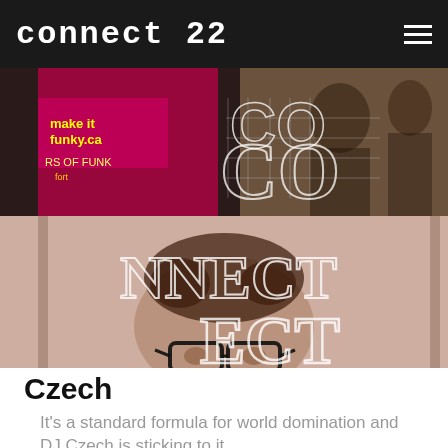connect 22
[Figure (photo): Collage of two photos: top half shows a music event booth with 'make it funky.ca' and 'RS OF FUNK' signage with 3D wireframe 'CO' letters overlay; bottom half shows a man with glasses and messy hair with 3D wireframe 'NNECT' letters overlaid, all in a pink/sepia tone.]
Czech
It's a standard formula for world domination and DJ Czech is sticking to it